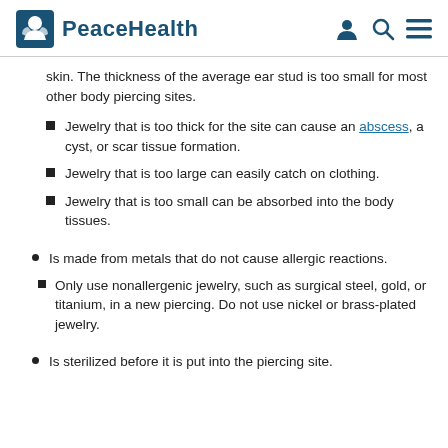PeaceHealth
skin. The thickness of the average ear stud is too small for most other body piercing sites.
Jewelry that is too thick for the site can cause an abscess, a cyst, or scar tissue formation.
Jewelry that is too large can easily catch on clothing.
Jewelry that is too small can be absorbed into the body tissues.
Is made from metals that do not cause allergic reactions.
Only use nonallergenic jewelry, such as surgical steel, gold, or titanium, in a new piercing. Do not use nickel or brass-plated jewelry.
Is sterilized before it is put into the piercing site.